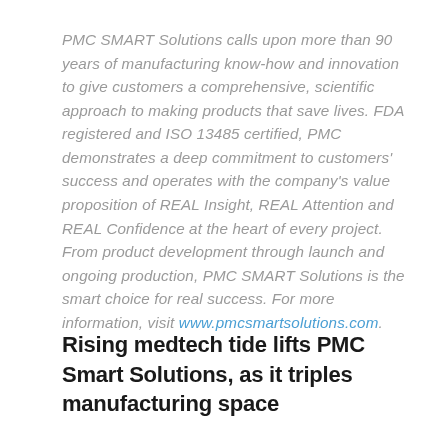PMC SMART Solutions calls upon more than 90 years of manufacturing know-how and innovation to give customers a comprehensive, scientific approach to making products that save lives. FDA registered and ISO 13485 certified, PMC demonstrates a deep commitment to customers' success and operates with the company's value proposition of REAL Insight, REAL Attention and REAL Confidence at the heart of every project. From product development through launch and ongoing production, PMC SMART Solutions is the smart choice for real success. For more information, visit www.pmcsmartsolutions.com.
Rising medtech tide lifts PMC Smart Solutions, as it triples manufacturing space